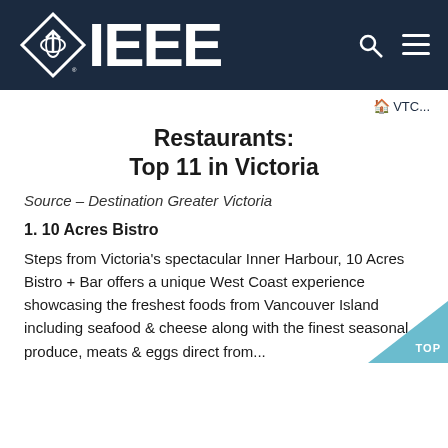IEEE
🏠 VTC...
Restaurants:
Top 11 in Victoria
Source – Destination Greater Victoria
1. 10 Acres Bistro
Steps from Victoria's spectacular Inner Harbour, 10 Acres Bistro + Bar offers a unique West Coast experience showcasing the freshest foods from Vancouver Island including seafood & cheese along with the finest seasonal produce, meats & eggs direct from...